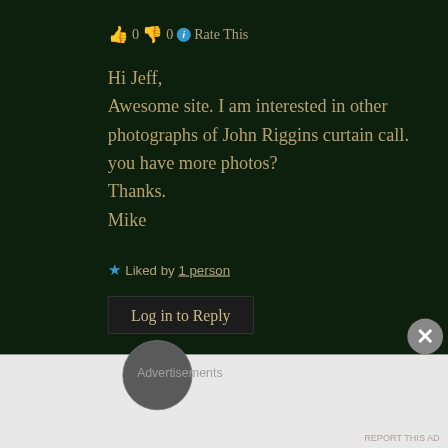👍 0 👎 0 ℹ Rate This
Hi Jeff,
Awesome site. I am interested in other photographs of John Riggins curtain call. you have more photos?
Thanks.
Mike
★ Liked by 1 person
Log in to Reply
Advertisements